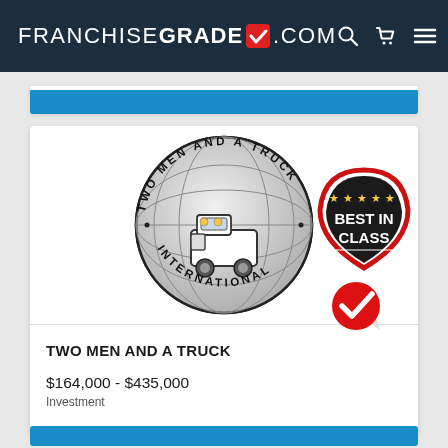[Figure (screenshot): FranchiseGrade.com website header with logo, search, cart, and menu icons on dark navy background]
[Figure (logo): Two Men and a Truck International circular logo with globe and truck illustration]
[Figure (illustration): Best In Class badge — dark shield shape with gold stars and red border]
[Figure (illustration): Red and white checkmark icon]
TWO MEN AND A TRUCK
$164,000 - $435,000
Investment